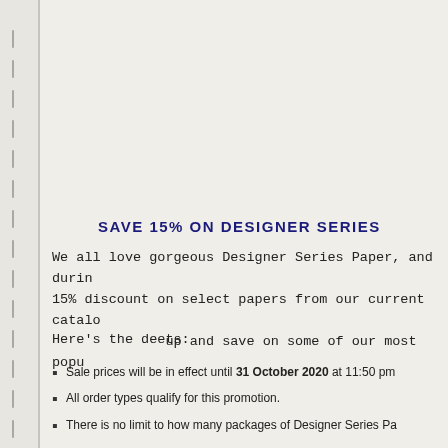SAVE 15% ON DESIGNER SERIES
We all love gorgeous Designer Series Paper, and during 15% discount on select papers from our current catal up and save on some of our most popu
Here's the deets:
Sale prices will be in effect until 31 October 2020 at 11:50 pm
All order types qualify for this promotion.
There is no limit to how many packages of Designer Series Pa